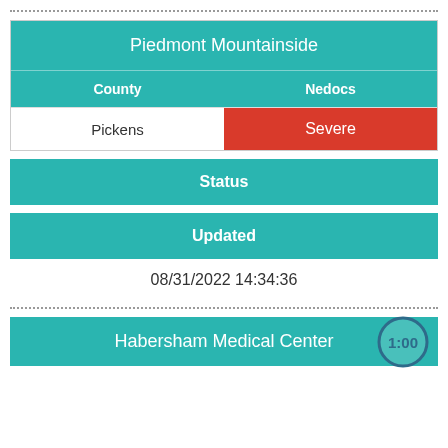| County | Nedocs |
| --- | --- |
| Pickens | Severe |
| Status |
| --- |
|  |
| Updated |
| --- |
| 08/31/2022 14:34:36 |
Habersham Medical Center